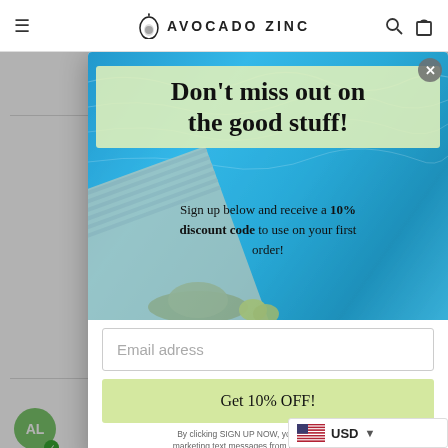AVOCADO ZINC
[Figure (screenshot): Modal popup overlay on an e-commerce website (Avocado Zinc) showing a promotional signup offer. Background shows pool/beach scene with towel and hat. Modal contains headline 'Don't miss out on the good stuff!', discount offer text, email input field, and CTA button.]
Don't miss out on the good stuff!
Sign up below and receive a 10% discount code to use on your first order!
Email adress
Get 10% OFF!
By clicking SIGN UP NOW, you agree to receive marketing text messages from Avocado Zinc at the
USD
★ REVIEWS
vearing
of all
outtin
em,
0  0
/02/2022
AL
not
is a lot